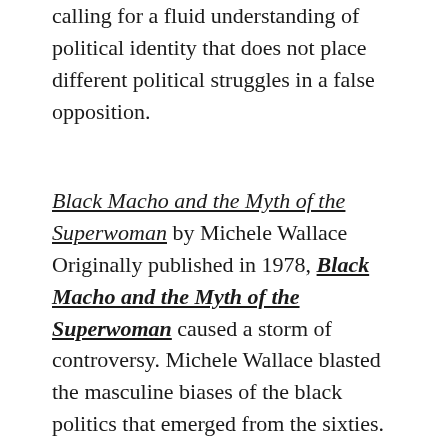calling for a fluid understanding of political identity that does not place different political struggles in a false opposition.
Black Macho and the Myth of the Superwoman by Michele Wallace Originally published in 1978, Black Macho and the Myth of the Superwoman caused a storm of controversy. Michele Wallace blasted the masculine biases of the black politics that emerged from the sixties. She described how women remained marginalized by the patriarchal culture of Black Power, demonstrating the ways in which a genuine female subjectivity was blocked by the traditional myths of black womanhood. With a foreword that examines the debate the book has